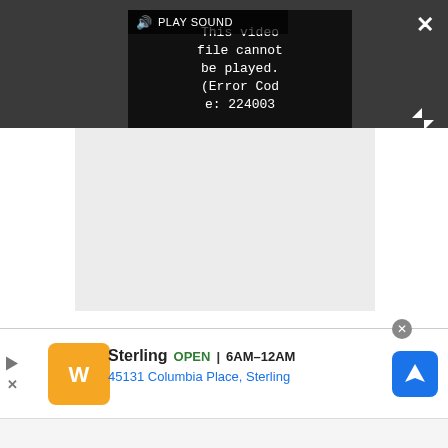[Figure (screenshot): Video player showing error message: This video file cannot be played. (Error Code: 224003). Has PLAY SOUND button, close X button, and expand arrows.]
[Figure (screenshot): Gray content area below video player]
[Figure (screenshot): Advertisement banner for Walgreens Sterling location showing OPEN 6AM-12AM, 45131 Columbia Place, Sterling with navigation icon]